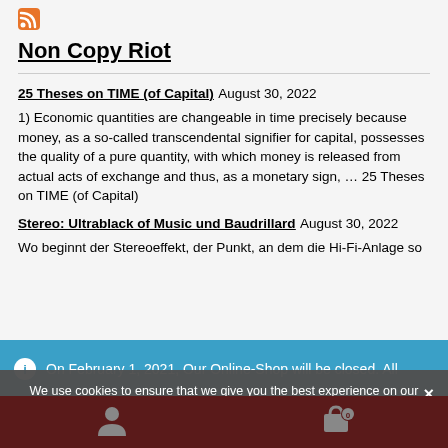Non Copy Riot
25 Theses on TIME (of Capital) August 30, 2022
1) Economic quantities are changeable in time precisely because money, as a so-called transcendental signifier for capital, possesses the quality of a pure quantity, with which money is released from actual acts of exchange and thus, as a monetary sign, ... 25 Theses on TIME (of Capital)
Stereo: Ultrablack of Music und Baudrillard August 30, 2022
Wo beginnt der Stereoeffekt, der Punkt, an dem die Hi-Fi-Anlage so
On February 1, 2021, Our Online-Shop will be closed. All orders until January 31 will be delivered
Dismiss
We use cookies to ensure that we give you the best experience on our website. If you continue to use this site we will assume that you are happy with it.